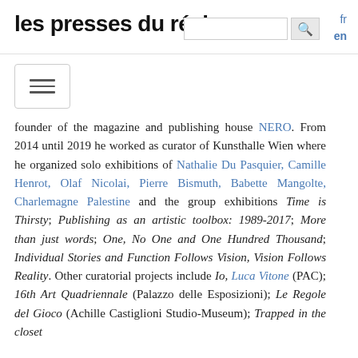les presses du réel
[Figure (other): Hamburger menu icon button with three horizontal lines inside a rounded rectangle border]
founder of the magazine and publishing house NERO. From 2014 until 2019 he worked as curator of Kunsthalle Wien where he organized solo exhibitions of Nathalie Du Pasquier, Camille Henrot, Olaf Nicolai, Pierre Bismuth, Babette Mangolte, Charlemagne Palestine and the group exhibitions Time is Thirsty; Publishing as an artistic toolbox: 1989-2017; More than just words; One, No One and One Hundred Thousand; Individual Stories and Function Follows Vision, Vision Follows Reality. Other curatorial projects include Io, Luca Vitone (PAC); 16th Art Quadriennale (Palazzo delle Esposizioni); Le Regole del Gioco (Achille Castiglioni Studio-Museum); Trapped in the closet